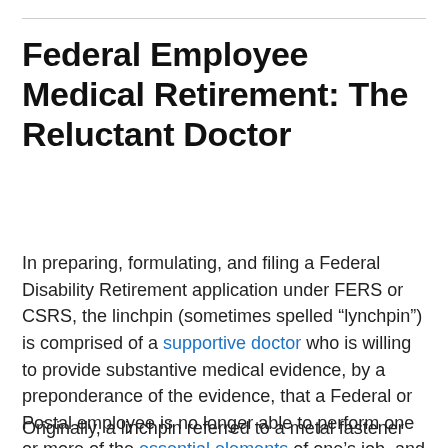Federal Employee Medical Retirement: The Reluctant Doctor
In preparing, formulating, and filing a Federal Disability Retirement application under FERS or CSRS, the linchpin (sometimes spelled “lynchpin”) is comprised of a supportive doctor who is willing to provide substantive medical evidence, by a preponderance of the evidence, that a Federal or Postal employee is no longer able to perform one or more of the essential elements of one’s job, and that the medical condition will last a minimum of 12 months.
Originally, a linchpin referred to a metal fastener which